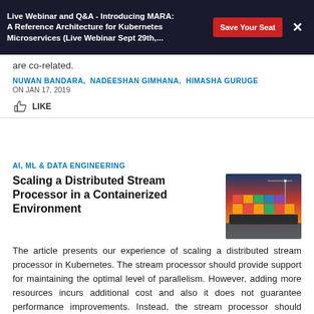Live Webinar and Q&A - Introducing MARA: A Reference Architecture for Kubernetes Microservices (Live Webinar Sept 29th,… | Save Your Seat | ×
are co-related.
NUWAN BANDARA,  NADEESHAN GIMHANA,  HIMASHA GURUGE
ON JAN 17, 2019
LIKE
AI, ML & DATA ENGINEERING
Scaling a Distributed Stream Processor in a Containerized Environment
[Figure (photo): Photo of a large cargo ship loaded with shipping containers at a port, with a red and orange sky]
The article presents our experience of scaling a distributed stream processor in Kubernetes. The stream processor should provide support for maintaining the optimal level of parallelism. However, adding more resources incurs additional cost and also it does not guarantee performance improvements. Instead, the stream processor should identify the level of resource requirement and scale accordingly.
SARANGAN JANAKAN,  MIYURU DAYARATHNA ON JAN 13, 2019
LIKE